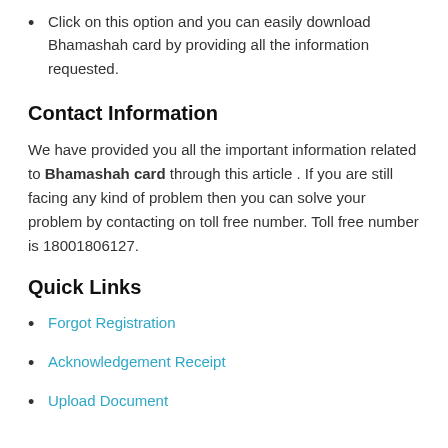Click on this option and you can easily download Bhamashah card by providing all the information requested.
Contact Information
We have provided you all the important information related to Bhamashah card through this article . If you are still facing any kind of problem then you can solve your problem by contacting on toll free number. Toll free number is 18001806127.
Quick Links
Forgot Registration
Acknowledgement Receipt
Upload Document